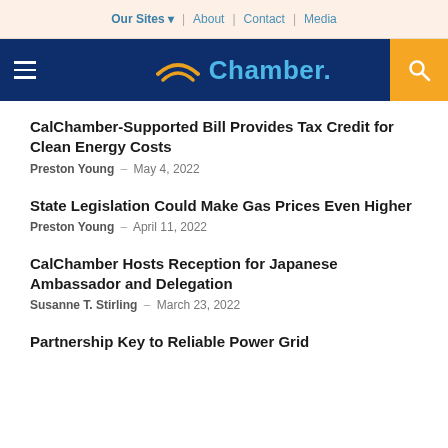Our Sites | About | Contact | Media
Chamber.
CalChamber-Supported Bill Provides Tax Credit for Clean Energy Costs
Preston Young - May 4, 2022
State Legislation Could Make Gas Prices Even Higher
Preston Young - April 11, 2022
CalChamber Hosts Reception for Japanese Ambassador and Delegation
Susanne T. Stirling - March 23, 2022
Partnership Key to Reliable Power Grid